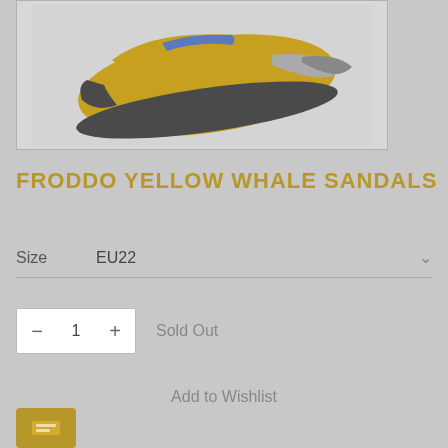[Figure (photo): Yellow Froddo sandal with blue and grey accents on a light grey background]
FRODDO YELLOW WHALE SANDALS
EU22
Size  EU22
— 1 +
Sold Out
Add to Wishlist